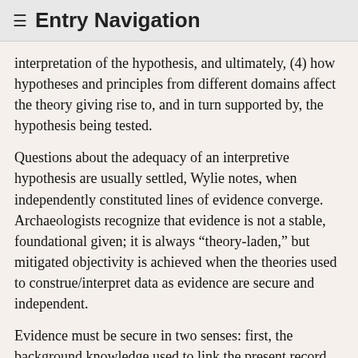≡ Entry Navigation
interpretation of the hypothesis, and ultimately, (4) how hypotheses and principles from different domains affect the theory giving rise to, and in turn supported by, the hypothesis being tested.
Questions about the adequacy of an interpretive hypothesis are usually settled, Wylie notes, when independently constituted lines of evidence converge. Archaeologists recognize that evidence is not a stable, foundational given; it is always “theory-laden,” but mitigated objectivity is achieved when the theories used to construe/interpret data as evidence are secure and independent.
Evidence must be secure in two senses: first, the background knowledge used to link the present record (data) with antecedent causes (conditions that produced it) or past events must be credible in its home context (e.g., paleobotanical claims used in an argument must be well established in paleobotany), and second, the inferences supported by this background knowledge are secure to the